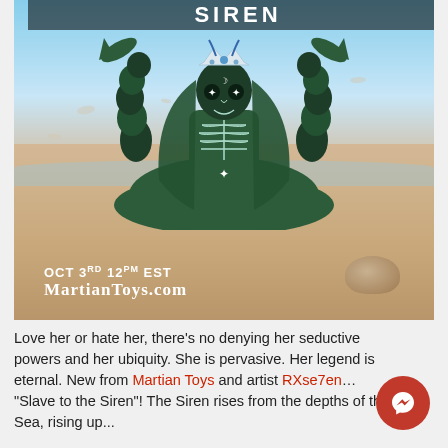[Figure (photo): A green skeletal siren figurine/toy sitting on a beach in wet sand with waves, holding snakes, wearing a crown, with fish/dolphins on each side. Text overlay reads 'SIREN' at top, 'OCT 3RD 12PM EST / MARTIANTOYS.COM' at bottom of image.]
Love her or hate her, there's no denying her seductive powers and her ubiquity. She is pervasive. Her le[gend] is eternal. New from Martian Toys and artist RXse7en... "Slave to the Siren"! The Siren rises from the depths of the Sea, rising up...